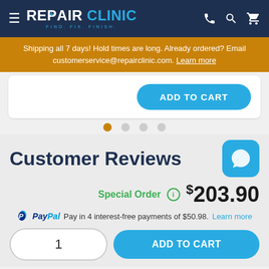REPAIR CLINIC FIND. FIX. FINISH.
Shipping all 7 days! Hold times are long. Already ordered? Email customerservice@repairclinic.com. Learn more
ADD TO CART
[Figure (other): Carousel navigation dots, first dot active (orange), three inactive (gray)]
Customer Reviews
Special Order  $203.90
PayPal Pay in 4 interest-free payments of $50.98. Learn more
1  ADD TO CART